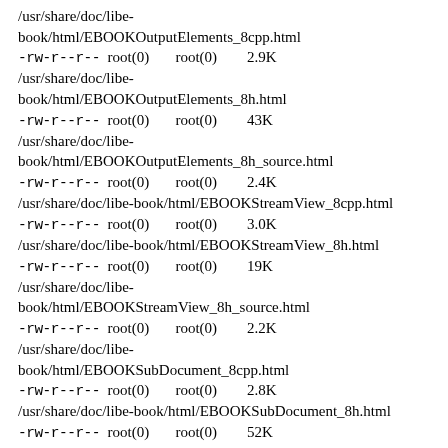/usr/share/doc/libe-book/html/EBOOKOutputElements_8cpp.html
-rw-r--r--  root(0)      root(0)        2.9K /usr/share/doc/libe-book/html/EBOOKOutputElements_8h.html
-rw-r--r--  root(0)      root(0)        43K /usr/share/doc/libe-book/html/EBOOKOutputElements_8h_source.html
-rw-r--r--  root(0)      root(0)        2.4K /usr/share/doc/libe-book/html/EBOOKStreamView_8cpp.html
-rw-r--r--  root(0)      root(0)        3.0K /usr/share/doc/libe-book/html/EBOOKStreamView_8h.html
-rw-r--r--  root(0)      root(0)        19K /usr/share/doc/libe-book/html/EBOOKStreamView_8h_source.html
-rw-r--r--  root(0)      root(0)        2.2K /usr/share/doc/libe-book/html/EBOOKSubDocument_8cpp.html
-rw-r--r--  root(0)      root(0)        2.8K /usr/share/doc/libe-book/html/EBOOKSubDocument_8h.html
-rw-r--r--  root(0)      root(0)        52K /usr/share/doc/libe-book/html/EBOOKSubDocument_8h_source.html